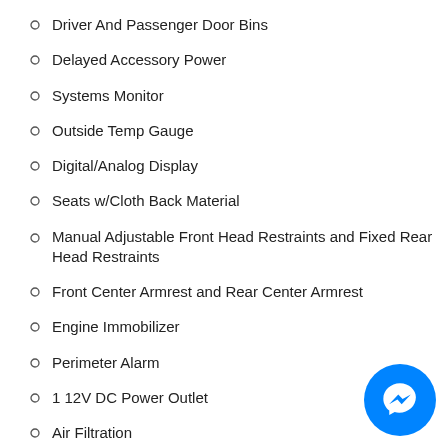Driver And Passenger Door Bins
Delayed Accessory Power
Systems Monitor
Outside Temp Gauge
Digital/Analog Display
Seats w/Cloth Back Material
Manual Adjustable Front Head Restraints and Fixed Rear Head Restraints
Front Center Armrest and Rear Center Armrest
Engine Immobilizer
Perimeter Alarm
1 12V DC Power Outlet
Air Filtration
[Figure (other): Facebook Messenger chat button (blue circle with lightning bolt icon) in bottom-right corner]